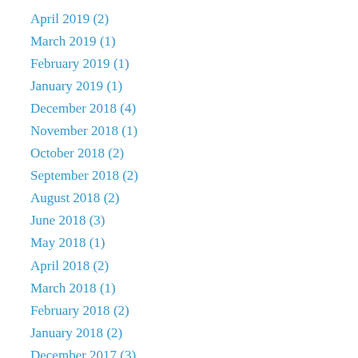April 2019 (2)
March 2019 (1)
February 2019 (1)
January 2019 (1)
December 2018 (4)
November 2018 (1)
October 2018 (2)
September 2018 (2)
August 2018 (2)
June 2018 (3)
May 2018 (1)
April 2018 (2)
March 2018 (1)
February 2018 (2)
January 2018 (2)
December 2017 (3)
November 2017 (3)
October 2017 (3)
September 2017 (2)
August 2017 (1)